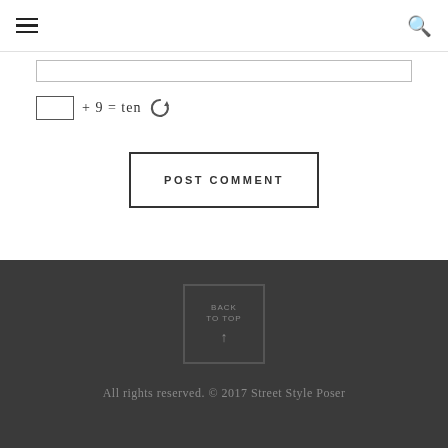[input field]
POST COMMENT
BACK TO TOP | All rights reserved. © 2017 Street Style Poser